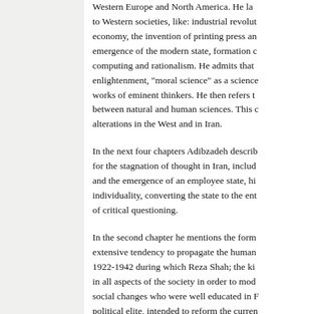Western Europe and North America. He la... to Western societies, like: industrial revolut... economy, the invention of printing press an... emergence of the modern state, formation c... computing and rationalism. He admits that... enlightenment, "moral science" as a science... works of eminent thinkers. He then refers t... between natural and human sciences. This c... alterations in the West and in Iran.
In the next four chapters Adibzadeh describ... for the stagnation of thought in Iran, includ... and the emergence of an employee state, hi... individuality, converting the state to the ent... of critical questioning.
In the second chapter he mentions the form... extensive tendency to propagate the human... 1922-1942 during which Reza Shah; the ki... in all aspects of the society in order to mod... social changes who were well educated in F... political elite, intended to reform the curren... royal origin of these intellectuals was a det...